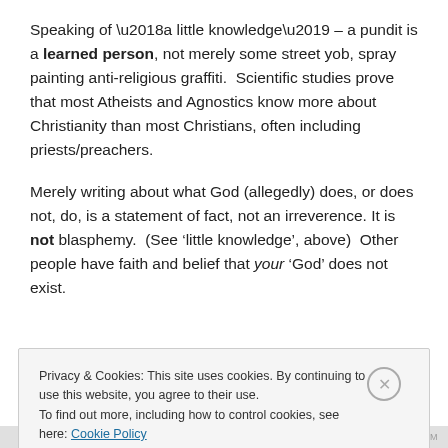Speaking of ‘a little knowledge’ – a pundit is a learned person, not merely some street yob, spray painting anti-religious graffiti.  Scientific studies prove that most Atheists and Agnostics know more about Christianity than most Christians, often including priests/preachers.
Merely writing about what God (allegedly) does, or does not, do, is a statement of fact, not an irreverence. It is not blasphemy.  (See ‘little knowledge’, above)  Other people have faith and belief that your ‘God’ does not exist.
Privacy & Cookies: This site uses cookies. By continuing to use this website, you agree to their use.
To find out more, including how to control cookies, see here: Cookie Policy